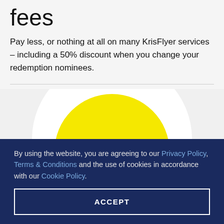fees
Pay less, or nothing at all on many KrisFlyer services – including a 50% discount when you change your redemption nominees.
[Figure (logo): Scoot airline logo: bold black 'scoot' text on a yellow circle, overlaid on a white circle background]
By using the website, you are agreeing to our Privacy Policy, Terms & Conditions and the use of cookies in accordance with our Cookie Policy.
ACCEPT